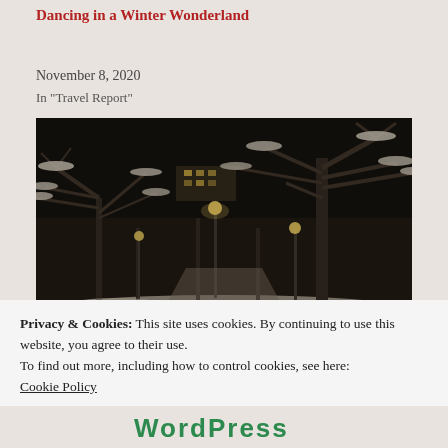Dancing in a Winter Wonderland
November 8, 2020
In "Travel Report"
[Figure (photo): Nighttime winter scene with snow-covered trees lining a pathway, street lights glowing among the branches, dark sky background]
Privacy & Cookies: This site uses cookies. By continuing to use this website, you agree to their use.
To find out more, including how to control cookies, see here:
Cookie Policy
[Figure (logo): Partially visible green logo/text at the bottom of the page]